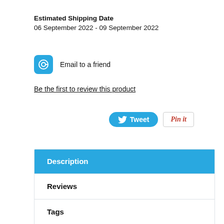Estimated Shipping Date
06 September 2022 - 09 September 2022
Email to a friend
Be the first to review this product
[Figure (other): Tweet button and Pin it button for social sharing]
Description
Reviews
Tags
DETAILS